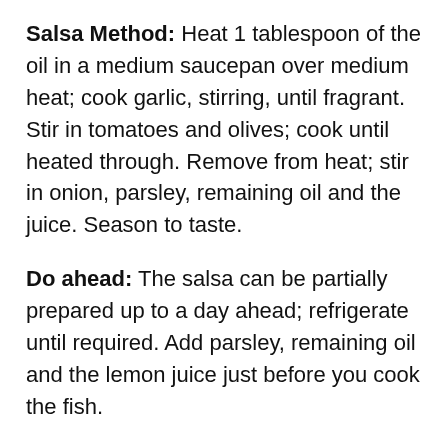Salsa Method: Heat 1 tablespoon of the oil in a medium saucepan over medium heat; cook garlic, stirring, until fragrant. Stir in tomatoes and olives; cook until heated through. Remove from heat; stir in onion, parsley, remaining oil and the juice. Season to taste.
Do ahead: The salsa can be partially prepared up to a day ahead; refrigerate until required. Add parsley, remaining oil and the lemon juice just before you cook the fish.
BOOK/RECIPE INSPIRATIONS...
I love reading both light fiction (like title below) at the same time as reading something more challenging (usually part of my Canberra book club